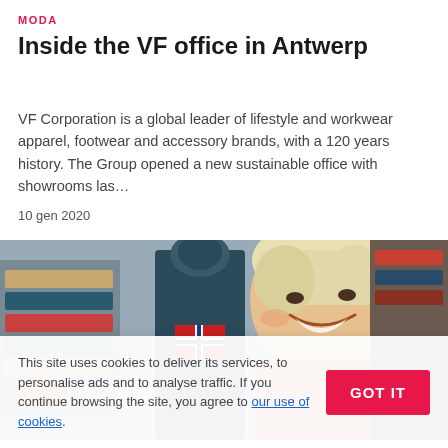MODA
Inside the VF office in Antwerp
VF Corporation is a global leader of lifestyle and workwear apparel, footwear and accessory brands, with a 120 years history. The Group opened a new sustainable office with showrooms las…
10 gen 2020
[Figure (photo): A smiling blonde woman in a fashion retail showroom with mannequins wearing hooded apparel in the background, surrounded by shelves of clothing and accessories.]
This site uses cookies to deliver its services, to personalise ads and to analyse traffic. If you continue browsing the site, you agree to our use of cookies.